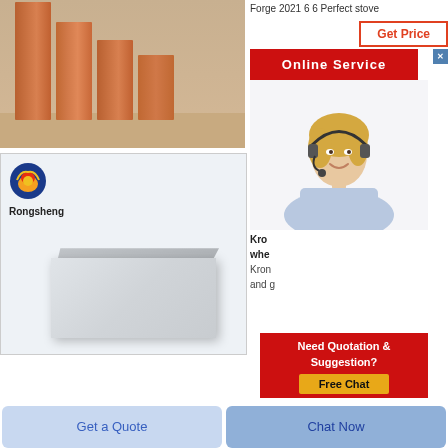[Figure (photo): Photo of terracotta/brown refractory bricks standing upright on sandy ground]
[Figure (photo): Product photo of white/light gray refractory brick with Rongsheng logo]
Forge 2021 6 6 Perfect stove
[Figure (photo): Get Price button - orange/red bordered button]
[Figure (screenshot): Online Service red button with close X]
[Figure (photo): Customer service agent photo - blonde woman with headset smiling]
Kro whe
Kron and g
[Figure (screenshot): Need Quotation & Suggestion? Free Chat button overlay]
Get a Quote
Chat Now